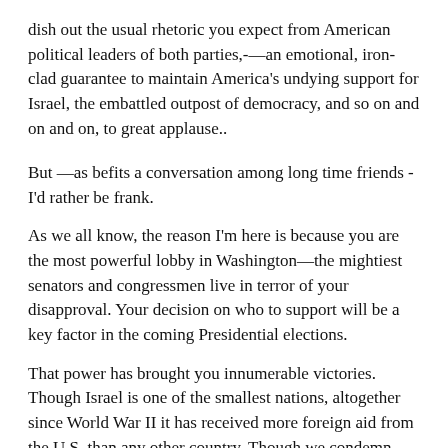dish out the usual rhetoric you expect from American political leaders of both parties,-—an emotional, iron-clad guarantee to maintain America's undying support for Israel, the embattled outpost of democracy, and so on and on and on, to great applause..
But —as befits a conversation among long time friends - I'd rather be frank.
As we all know, the reason I'm here is because you are the most powerful lobby in Washington—the mightiest senators and congressmen live in terror of your disapproval. Your decision on who to support will be a key factor in the coming Presidential elections.
That power has brought you innumerable victories.  Though Israel is one of the smallest nations, altogether since World War II it has received more foreign aid from the U.S. than any other country. Though we condemn Iran's nuclear program, we still officially ignore the fact that Israel has had the bomb for more than 40 years.
Our leaders have gone along with the fiction that Israel is